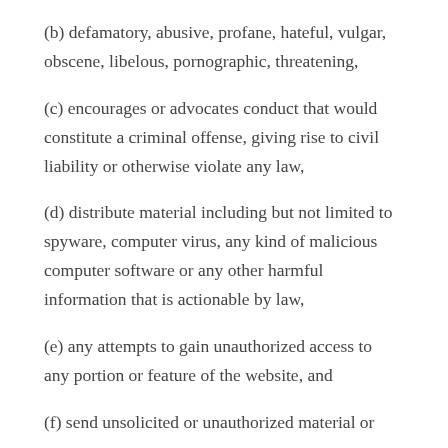(b) defamatory, abusive, profane, hateful, vulgar, obscene, libelous, pornographic, threatening,
(c) encourages or advocates conduct that would constitute a criminal offense, giving rise to civil liability or otherwise violate any law,
(d) distribute material including but not limited to spyware, computer virus, any kind of malicious computer software or any other harmful information that is actionable by law,
(e) any attempts to gain unauthorized access to any portion or feature of the website, and
(f) send unsolicited or unauthorized material or